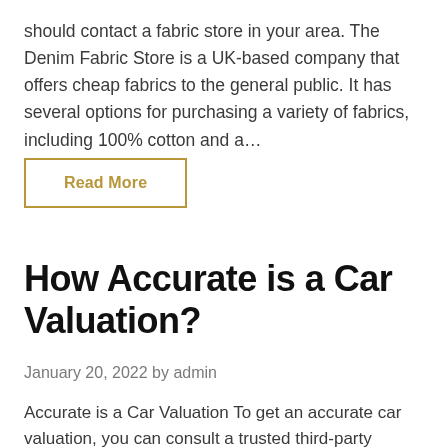should contact a fabric store in your area. The Denim Fabric Store is a UK-based company that offers cheap fabrics to the general public. It has several options for purchasing a variety of fabrics, including 100% cotton and a...
Read More
How Accurate is a Car Valuation?
January 20, 2022 by admin
Accurate is a Car Valuation To get an accurate car valuation, you can consult a trusted third-party...